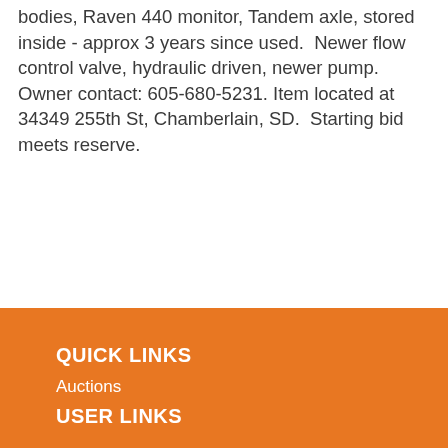bodies, Raven 440 monitor, Tandem axle, stored inside - approx 3 years since used.  Newer flow control valve, hydraulic driven, newer pump.  Owner contact: 605-680-5231. Item located at 34349 255th St, Chamberlain, SD.  Starting bid meets reserve.
QUICK LINKS
Auctions
USER LINKS